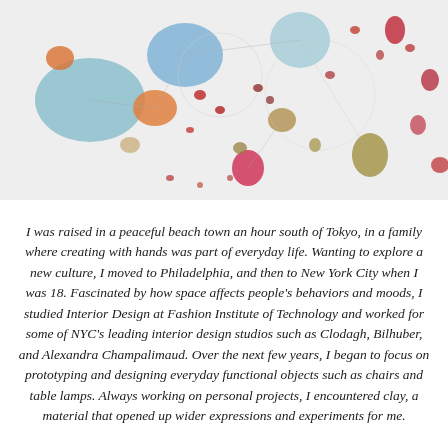[Figure (photo): Artistic installation photograph showing colorful oval and spherical shapes in various sizes — teal, blue, orange, red, pink, olive, brown — scattered across a light gray/white background, connected by thin lines. The shapes resemble a mobile or a data visualization art piece.]
I was raised in a peaceful beach town an hour south of Tokyo, in a family where creating with hands was part of everyday life. Wanting to explore a new culture, I moved to Philadelphia, and then to New York City when I was 18. Fascinated by how space affects people's behaviors and moods, I studied Interior Design at Fashion Institute of Technology and worked for some of NYC's leading interior design studios such as Clodagh, Bilhuber, and Alexandra Champalimaud. Over the next few years, I began to focus on prototyping and designing everyday functional objects such as chairs and table lamps. Always working on personal projects, I encountered clay, a material that opened up wider expressions and experiments for me.